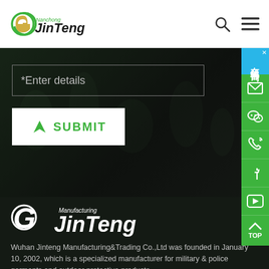[Figure (logo): JinTeng Manufacturing logo - green circular G icon with JinTeng text, top left header]
[Figure (screenshot): Search icon (magnifying glass) and hamburger menu icon in header top right]
[Figure (screenshot): Dark banner background with contact form input field labeled *Enter details and white SUBMIT button with green arrow icon]
[Figure (screenshot): Right sidebar with blue online chat panel (在线咨询) and green icons for mail, WeChat, phone, Facebook, video, and TOP scroll button]
[Figure (logo): Large white JinTeng Manufacturing logo on dark background]
Wuhan Jinteng Manufacturing&Trading Co.,Ltd was founded in January 10, 2002, which is a specialized manufacturer for military & police garments and outdoor protective products.